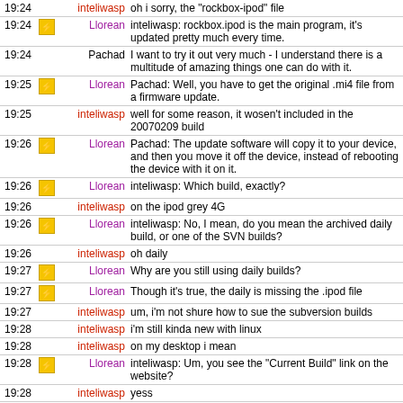| Time | Icon | Nick | Message |
| --- | --- | --- | --- |
| 19:24 |  | inteliwasp | oh i sorry, the "rockbox-ipod" file |
| 19:24 | icon | Llorean | inteliwasp: rockbox.ipod is the main program, it's updated pretty much every time. |
| 19:24 |  | Pachad | I want to try it out very much - I understand there is a multitude of amazing things one can do with it. |
| 19:25 | icon | Llorean | Pachad: Well, you have to get the original .mi4 file from a firmware update. |
| 19:25 |  | inteliwasp | well for some reason, it wosen't included in the 20070209 build |
| 19:26 | icon | Llorean | Pachad: The update software will copy it to your device, and then you move it off the device, instead of rebooting the device with it on it. |
| 19:26 | icon | Llorean | inteliwasp: Which build, exactly? |
| 19:26 |  | inteliwasp | on the ipod grey 4G |
| 19:26 | icon | Llorean | inteliwasp: No, I mean, do you mean the archived daily build, or one of the SVN builds? |
| 19:26 |  | inteliwasp | oh daily |
| 19:27 | icon | Llorean | Why are you still using daily builds? |
| 19:27 | icon | Llorean | Though it's true, the daily is missing the .ipod file |
| 19:27 |  | inteliwasp | um, i'm not shure how to sue the subversion builds |
| 19:28 |  | inteliwasp | i'm still kinda new with linux |
| 19:28 |  | inteliwasp | on my desktop i mean |
| 19:28 | icon | Llorean | inteliwasp: Um, you see the "Current Build" link on the website? |
| 19:28 |  | inteliwasp | yess |